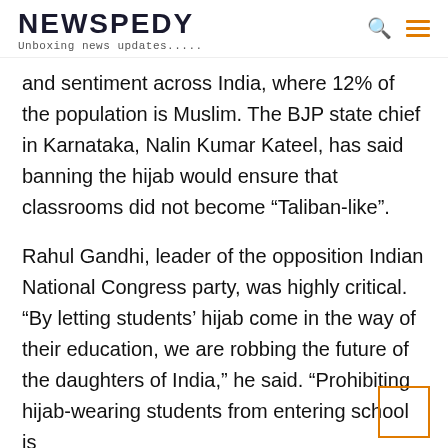NEWSPEDY
Unboxing news updates.....
and sentiment across India, where 12% of the population is Muslim. The BJP state chief in Karnataka, Nalin Kumar Kateel, has said banning the hijab would ensure that classrooms did not become “Taliban-like”.
Rahul Gandhi, leader of the opposition Indian National Congress party, was highly critical. “By letting students’ hijab come in the way of their education, we are robbing the future of the daughters of India,” he said. “Prohibiting hijab-wearing students from entering school is